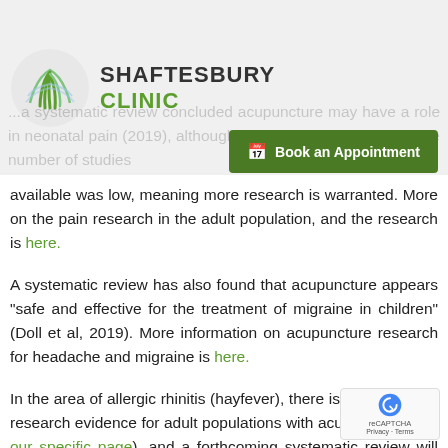SHAFTESBURY CLINIC
...a systematic review concluded acupuncture may have a role in neonatal pain (2019), although they also pointed out that the number of studies available was low, meaning more research is warranted. More on the pain research in the adult population, and the research is here.
A systematic review has also found that acupuncture appears “safe and effective for the treatment of migraine in children” (Doll et al, 2019). More information on acupuncture research for headache and migraine is here.
In the area of allergic rhinitis (hayfever), there is already some research evidence for adult populations with acupuncture (see our specific page), and a forthcoming systematic review will examine this in children (pro... Li et al, 2021).